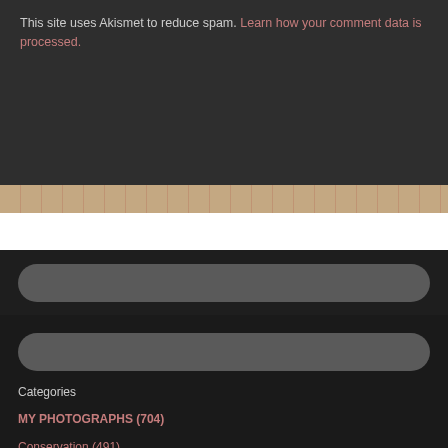This site uses Akismet to reduce spam. Learn how your comment data is processed.
[Figure (screenshot): Search bar input field with rounded corners on dark background]
[Figure (screenshot): Second search bar input field with rounded corners on dark background]
Categories
MY PHOTOGRAPHS (704)
Conservation (491)
REVERIES (485)
TRAVEL REVIEWS (434)
Birds (255)
Tags
Cindy Barton LCSW (482)
Cindy Barton (374)